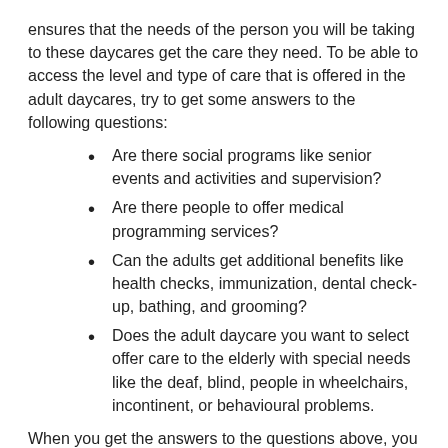ensures that the needs of the person you will be taking to these daycares get the care they need. To be able to access the level and type of care that is offered in the adult daycares, try to get some answers to the following questions:
Are there social programs like senior events and activities and supervision?
Are there people to offer medical programming services?
Can the adults get additional benefits like health checks, immunization, dental check-up, bathing, and grooming?
Does the adult daycare you want to select offer care to the elderly with special needs like the deaf, blind, people in wheelchairs, incontinent, or behavioural problems.
When you get the answers to the questions above, you will